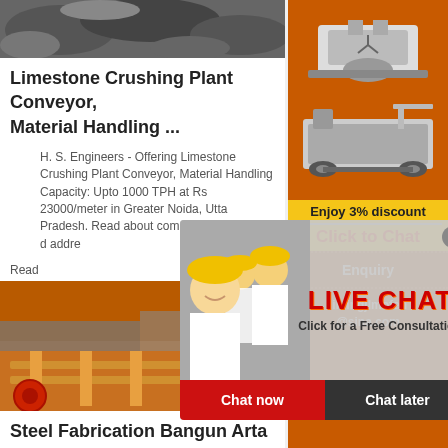[Figure (photo): Aerial or close-up view of crushed limestone/rocks at a plant]
Limestone Crushing Plant Conveyor, Material Handling ...
H. S. Engineers - Offering Limestone Crushing Plant Conveyor, Material Handling Capacity: Upto 1000 TPH at Rs 23000/meter in Greater Noida, Uttar Pradesh. Read about company. Get contact details and address ...
Read
[Figure (photo): Industrial conveyor/material handling equipment at a mining site]
Steel Fabrication Bangun Arta
First Words. PT. Bangun Arta Hutama is a private company engaged in the mining industry, especially in Bulk Material Handling which includes the ...
[Figure (photo): Sidebar advertisement showing mining/crushing machinery images with discount offer. Enjoy 3% discount. Click to Chat. Enquiry. limingjlmofen@sina.com]
[Figure (screenshot): Live chat popup overlay with photo of woman in hard hat and colleagues. Text: LIVE CHAT - Click for a Free Consultation. Buttons: Chat now, Chat later.]